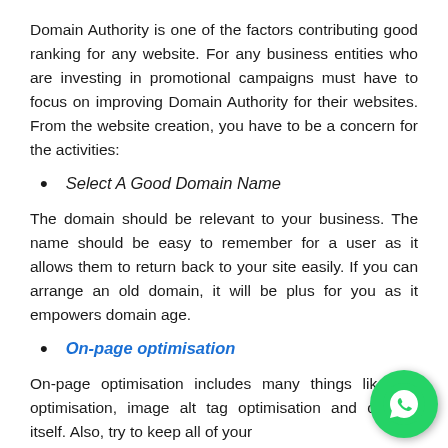Domain Authority is one of the factors contributing good ranking for any website. For any business entities who are investing in promotional campaigns must have to focus on improving Domain Authority for their websites. From the website creation, you have to be a concern for the activities:
Select A Good Domain Name
The domain should be relevant to your business. The name should be easy to remember for a user as it allows them to return back to your site easily. If you can arrange an old domain, it will be plus for you as it empowers domain age.
On-page optimisation
On-page optimisation includes many things like tag optimisation, image alt tag optimisation and content itself. Also, try to keep all of your